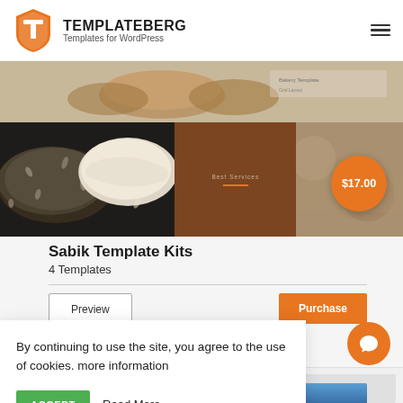TEMPLATEBERG — Templates for WordPress
[Figure (screenshot): Sabik Template Kits product image showing bread/bakery themed website preview with $17.00 price badge]
Sabik Template Kits
4 Templates
Preview
Purchase
By continuing to use the site, you agree to the use of cookies. more information
ACCEPT
Read More